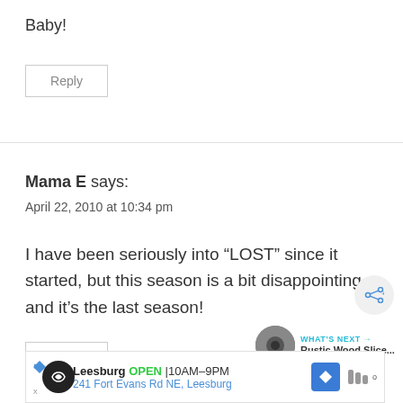Baby!
Reply
Mama E says:
April 22, 2010 at 10:34 pm
I have been seriously into “LOST” since it started, but this season is a bit disappointing and it’s the last season!
Reply
[Figure (screenshot): Advertisement bar for Leesburg business: OPEN 10AM-9PM, 241 Fort Evans Rd NE, Leesburg]